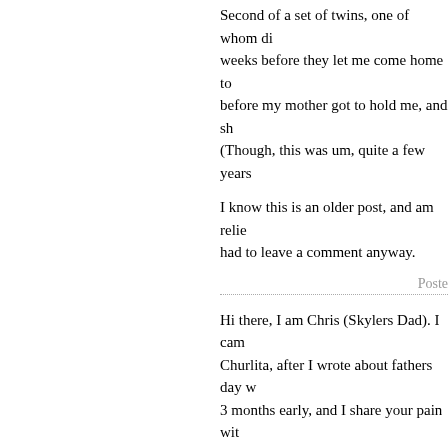Second of a set of twins, one of whom di... weeks before they let me come home to... before my mother got to hold me, and sh... (Though, this was um, quite a few years...
I know this is an older post, and am relie... had to leave a comment anyway.
Posted b...
Hi there, I am Chris (Skylers Dad). I cam... Churlita, after I wrote about fathers day w... 3 months early, and I share your pain wit...
http://skylersdad.blogspot.com/
Posted b...
« Pre...
The comments to this entry are closed.